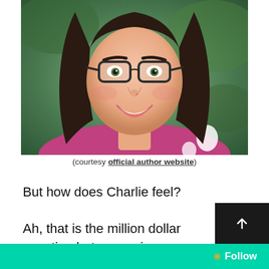[Figure (photo): Headshot of a smiling young woman with long brown hair and glasses, wearing a pink floral top, with a green foliage background.]
(courtesy official author website)
But how does Charlie feel?
Ah, that is the million dollar question but one swi
...ing from tail to tail thoughtfully...